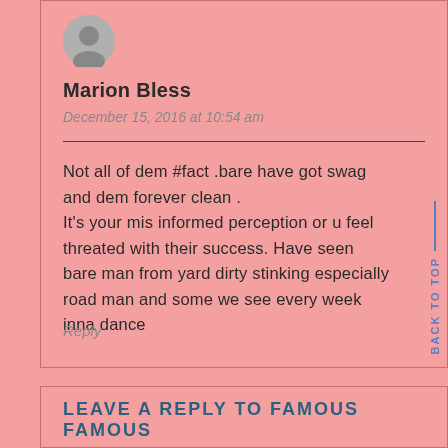[Figure (illustration): Grey circular avatar/profile placeholder icon]
Marion Bless
December 15, 2016 at 10:54 am
Not all of dem #fact .bare have got swag and dem forever clean .
It's your mis informed perception or u feel threated with their success. Have seen bare man from yard dirty stinking especially road man and some we see every week inna dance
Reply
BACK TO TOP
LEAVE A REPLY TO FAMOUS FAMOUS